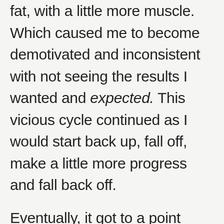fat, with a little more muscle. Which caused me to become demotivated and inconsistent with not seeing the results I wanted and expected. This vicious cycle continued as I would start back up, fall off, make a little more progress and fall back off.

Eventually, it got to a point where I grew tired of not having the body I wanted and deserved. At this point, I knew in my mind it was possible, and I wanted to physically prove it to myself. There's a science behind losing fat and building muscle and I was determined to figure it out. I started